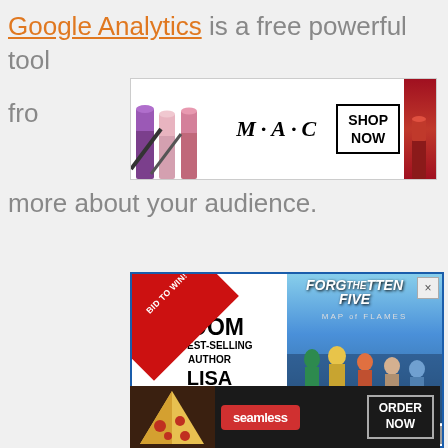Google Analytics is a free powerful tool from... more about your audience.
[Figure (photo): MAC Cosmetics banner advertisement featuring colorful lipsticks and 'SHOP NOW' button]
[Figure (photo): Book promotion ad for 'Forgotten Five: Map of Flames' by Lisa McMann with 'BID TO WIN! ZOOM w/ BEST-SELLING AUTHOR LISA McMANN' and 'Meet her with your school, school district, or writer's group' text, with CLOSE button]
[Figure (photo): Seamless food delivery advertisement with pizza image and 'ORDER NOW' button]